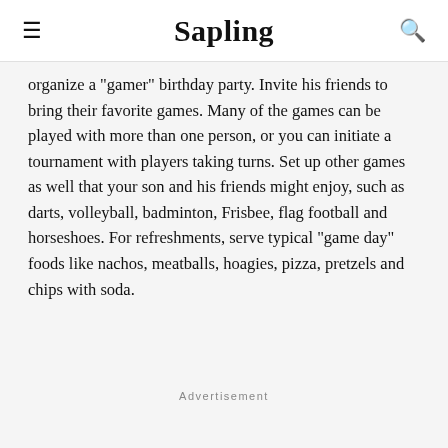Sapling
organize a "gamer" birthday party. Invite his friends to bring their favorite games. Many of the games can be played with more than one person, or you can initiate a tournament with players taking turns. Set up other games as well that your son and his friends might enjoy, such as darts, volleyball, badminton, Frisbee, flag football and horseshoes. For refreshments, serve typical "game day" foods like nachos, meatballs, hoagies, pizza, pretzels and chips with soda.
Advertisement